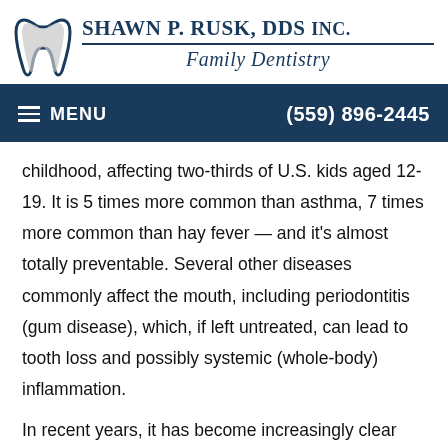[Figure (logo): Shawn P. Rusk, DDS Inc. Family Dentistry logo with tooth graphic]
≡ MENU   (559) 896-2445
childhood, affecting two-thirds of U.S. kids aged 12-19. It is 5 times more common than asthma, 7 times more common than hay fever — and it's almost totally preventable. Several other diseases commonly affect the mouth, including periodontitis (gum disease), which, if left untreated, can lead to tooth loss and possibly systemic (whole-body) inflammation.
…